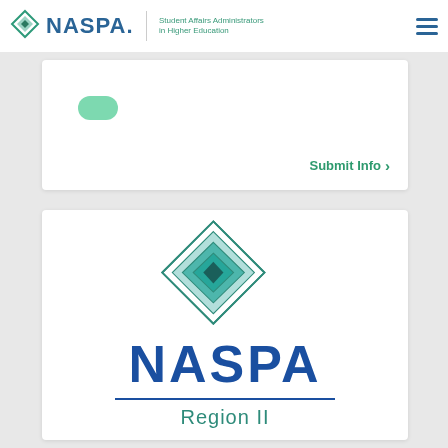NASPA Student Affairs Administrators in Higher Education
[Figure (other): Green rounded rectangle pill shape placeholder in white card]
Submit Info >
[Figure (logo): NASPA Region II logo: teal/green nested diamond shapes above large blue NASPA text with horizontal rule and 'Region II' subtitle in teal]